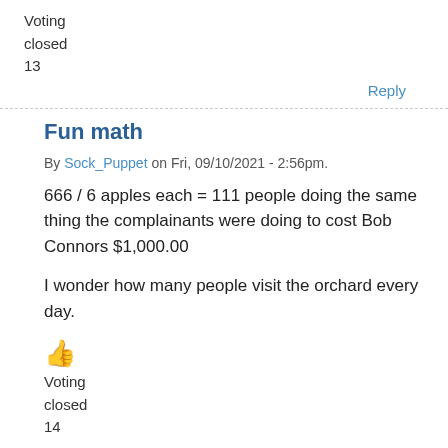Voting
closed
13
Reply
Fun math
By Sock_Puppet on Fri, 09/10/2021 - 2:56pm.
666 / 6 apples each = 111 people doing the same thing the complainants were doing to cost Bob Connors $1,000.00
I wonder how many people visit the orchard every day.
Voting
closed
14